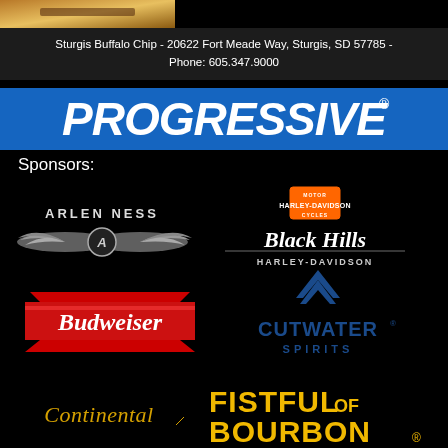[Figure (photo): Partial image at top left corner, warm golden/brown tones]
Sturgis Buffalo Chip - 20622 Fort Meade Way, Sturgis, SD 57785 - Phone: 605.347.9000
[Figure (logo): Progressive Insurance logo in white italic bold text on blue banner background]
Sponsors:
[Figure (logo): Arlen Ness logo with winged emblem]
[Figure (logo): Black Hills Harley-Davidson logo with Motor Harley-Davidson Cycles shield and Black Hills script text]
[Figure (logo): Budweiser logo in red with bowtie shape]
[Figure (logo): Cutwater Spirits logo with blue chevron icon]
[Figure (logo): Continental tire logo in gold/yellow]
[Figure (logo): Fistful of Bourbon logo in yellow bold text]